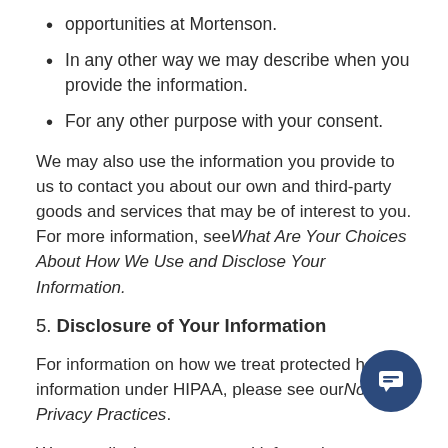opportunities at Mortenson.
In any other way we may describe when you provide the information.
For any other purpose with your consent.
We may also use the information you provide to us to contact you about our own and third-party goods and services that may be of interest to you. For more information, see What Are Your Choices About How We Use and Disclose Your Information.
5. Disclosure of Your Information
For information on how we treat protected health information under HIPAA, please see our Notice of Privacy Practices.
We may disclose aggregated information